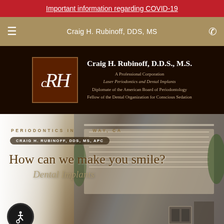Important information regarding COVID-19
Craig H. Rubinoff, DDS, MS
[Figure (logo): CRH monogram logo in dark brown box with decorative italic serif letters]
Craig H. Rubinoff, D.D.S., M.S.
A Professional Corporation
Laser Periodontics and Dental Implants
Diplomate of the American Board of Periodontology
Fellow of the Dental Organization for Conscious Sedation
[Figure (photo): Hero section with building exterior photo background, overlaid with text: PERIODONTICS IN [WAY], CA / CRAIG H. RUBINOFF DDS MS APC / How can we make you smile? / Dental Implants. Accessibility button in bottom left corner.]
PERIODONTICS IN [WAY], CA
CRAIG H. RUBINOFF, DDS, MS, APC
How can we make you smile?
Dental Implants